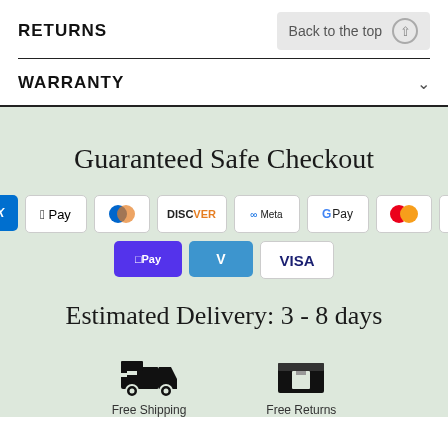RETURNS
Back to the top ↑
WARRANTY
Guaranteed Safe Checkout
[Figure (infographic): Payment method badges: AMEX, Apple Pay, Diners Club, Discover, Meta Pay, Google Pay, Mastercard, PayPal, Shop Pay, Venmo, VISA]
Estimated Delivery: 3 - 8 days
[Figure (illustration): Delivery truck icon and package/box icon with partial labels 'Free Shipping' and 'Free Returns']